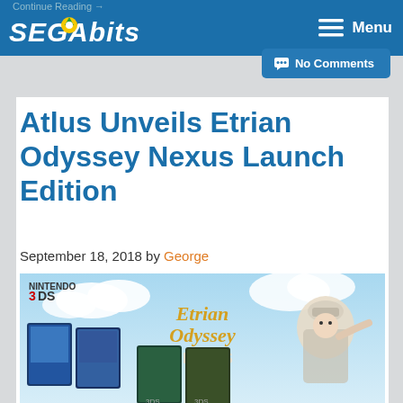Continue Reading →
SEGABITS — Menu
No Comments
Atlus Unveils Etrian Odyssey Nexus Launch Edition
September 18, 2018 by George
[Figure (photo): Etrian Odyssey Nexus Nintendo 3DS game box art and launch edition contents, showing multiple game cases and character art on a blue sky background with the Etrian Odyssey Nexus logo]